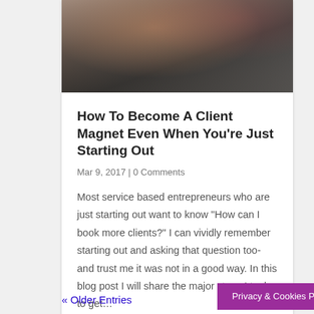[Figure (photo): Photo of two people working together at a computer desk, partial crop showing upper portion]
How To Become A Client Magnet Even When You're Just Starting Out
Mar 9, 2017 | 0 Comments
Most service based entrepreneurs who are just starting out want to know “How can I book more clients?” I can vividly remember starting out and asking that question too- and trust me it was not in a good way. In this blog post I will share the major steps I took to get…
« Older Entries
Privacy & Cookies Policy